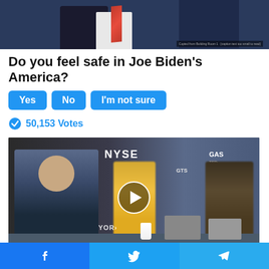[Figure (photo): Two men in suits, one with a red tie, top portion of image cropped]
Do you feel safe in Joe Biden's America?
Yes  No  I'm not sure
50,153 Votes
[Figure (photo): Video thumbnail showing NYSE trading floor with people seated at a desk, play button overlay. Text visible: NYSE, GAS, GTS, YOR]
Biden Probably Wants This Video Destroyed
Facebook  Twitter  Telegram share buttons